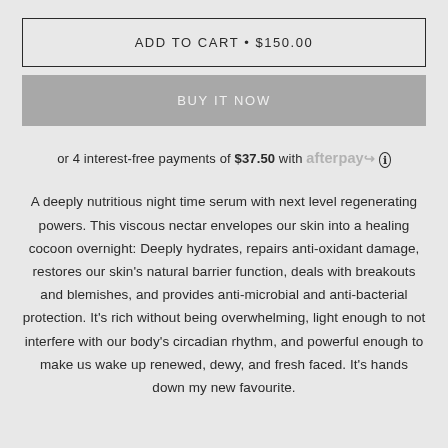ADD TO CART • $150.00
BUY IT NOW
or 4 interest-free payments of $37.50 with afterpay ℹ
A deeply nutritious night time serum with next level regenerating powers. This viscous nectar envelopes our skin into a healing cocoon overnight: Deeply hydrates, repairs anti-oxidant damage, restores our skin's natural barrier function, deals with breakouts and blemishes, and provides anti-microbial and anti-bacterial protection. It's rich without being overwhelming, light enough to not interfere with our body's circadian rhythm, and powerful enough to make us wake up renewed, dewy, and fresh faced. It's hands down my new favourite.